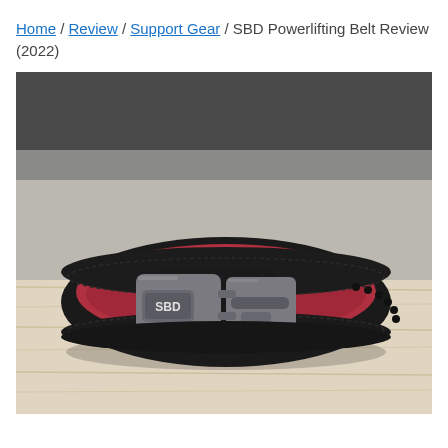Home / Review / Support Gear / SBD Powerlifting Belt Review (2022)
[Figure (photo): Photo of an SBD powerlifting lever belt lying flat on a wooden surface. The belt is black leather with a red suede interior lining visible at the top. It features a grey metal lever buckle with the SBD logo on the left side, and belt holes are visible on the right side.]